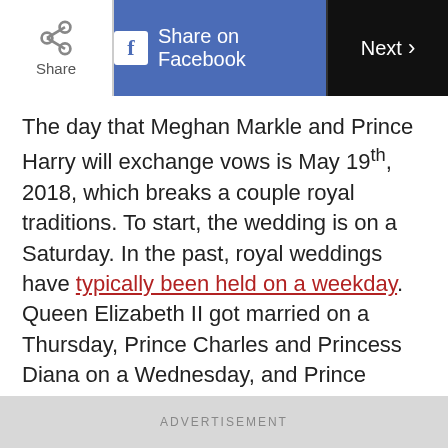Share | Share on Facebook | Next
The day that Meghan Markle and Prince Harry will exchange vows is May 19th, 2018, which breaks a couple royal traditions. To start, the wedding is on a Saturday. In the past, royal weddings have typically been held on a weekday. Queen Elizabeth II got married on a Thursday, Prince Charles and Princess Diana on a Wednesday, and Prince William and Kate on a Friday. Also, the wedding will be held on the same day as Britain's historic soccer cup competition, the Emirates FA Final Cup. Prince William is the president of the Football Association and usually makes an
ADVERTISEMENT